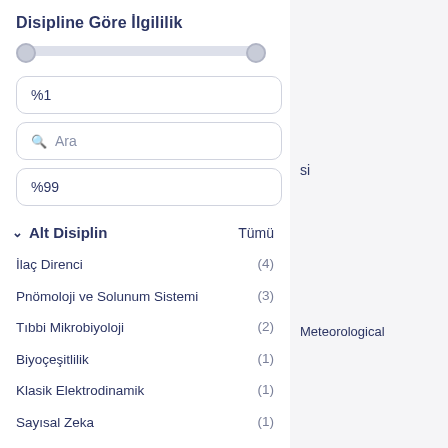Disipline Göre İlgililik
%1
Ara
%99
si
Meteorological
Alt Disiplin   Tümü
İlaç Direnci (4)
Pnömoloji ve Solunum Sistemi (3)
Tıbbi Mikrobiyoloji (2)
Biyoçeşitlilik (1)
Klasik Elektrodinamik (1)
Sayısal Zeka (1)